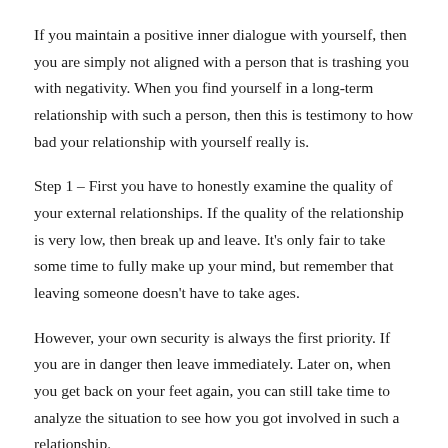If you maintain a positive inner dialogue with yourself, then you are simply not aligned with a person that is trashing you with negativity. When you find yourself in a long-term relationship with such a person, then this is testimony to how bad your relationship with yourself really is.
Step 1 – First you have to honestly examine the quality of your external relationships. If the quality of the relationship is very low, then break up and leave. It's only fair to take some time to fully make up your mind, but remember that leaving someone doesn't have to take ages.
However, your own security is always the first priority. If you are in danger then leave immediately. Later on, when you get back on your feet again, you can still take time to analyze the situation to see how you got involved in such a relationship.